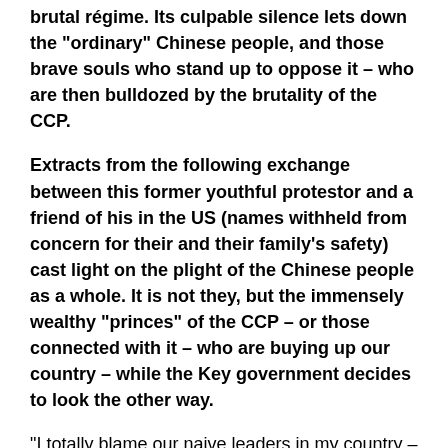brutal régime. Its culpable silence lets down the “ordinary” Chinese people, and those brave souls who stand up to oppose it – who are then bulldozed by the brutality of the CCP.
Extracts from the following exchange between this former youthful protestor and a friend of his in the US (names withheld from concern for their and their family’s safety) cast light on the plight of the Chinese people as a whole. It is not they, but the immensely wealthy “Princes” of the CCP – or those connected with it – who are buying up our country – while the Key government decides to look the other way.
“I totally blame our naive leaders in my country – Kissinger, Nixon, Clinton, etc.  The list is long.”
“You know why? Mainly because you Americans allowed